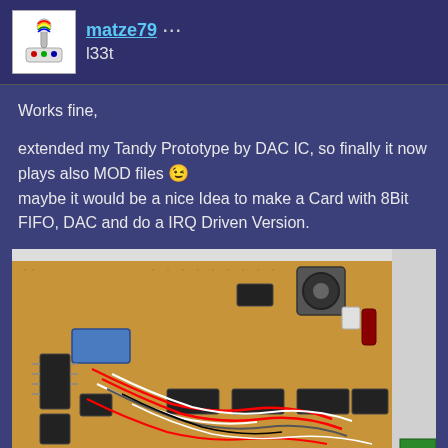matze79 · l33t
Works fine,
extended my Tandy Prototype by DAC IC, so finally it now plays also MOD files 😉
maybe it would be a nice Idea to make a Card with 8Bit FIFO, DAC and do a IRQ Driven Version.
[Figure (photo): Photograph of a DIY electronics prototype board (perfboard) mounted in a case, showing multiple ICs, capacitors, a blue component, potentiometer/knob, and many colored wires connecting the components.]